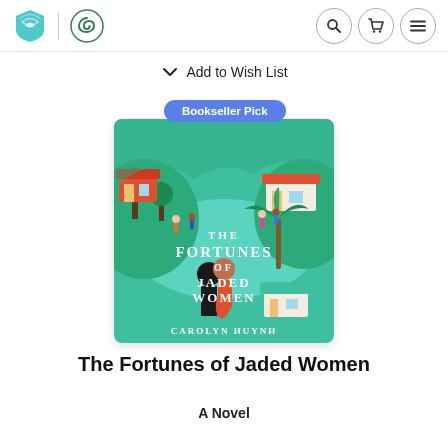Audible / Libro.fm header with search, cart, and menu icons
Add to Wish List
[Figure (illustration): Book cover for 'The Fortunes of Jaded Women' by Carolyn Huynh, with a 'Bookseller Pick' badge. The cover features illustrated people in a tropical setting with teal water, palm trees, and colorful buildings.]
The Fortunes of Jaded Women
A Novel